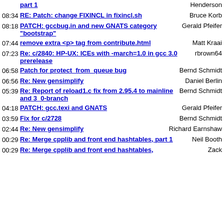part 1 — Henderson
08:34 RE: Patch: change FIXINCL in fixincl.sh — Bruce Korb
08:18 PATCH: gccbug.in and new GNATS category "bootstrap" — Gerald Pfeifer
07:44 remove extra <p> tag from contribute.html — Matt Kraai
07:23 Re: c/2840: HP-UX: ICEs with -march=1.0 in gcc 3.0 prerelease — rbrown64
06:58 Patch for protect_from_queue bug — Bernd Schmidt
06:56 Re: New gensimplify — Daniel Berlin
05:39 Re: Report of reload1.c fix from 2.95.4 to mainline and 3_0-branch — Bernd Schmidt
04:18 PATCH: gcc.texi and GNATS — Gerald Pfeifer
03:59 Fix for c/2728 — Bernd Schmidt
02:44 Re: New gensimplify — Richard Earnshaw
00:29 Re: Merge cpplib and front end hashtables, part 1 — Neil Booth
00:29 Re: Merge cpplib and front end hashtables, — Zack